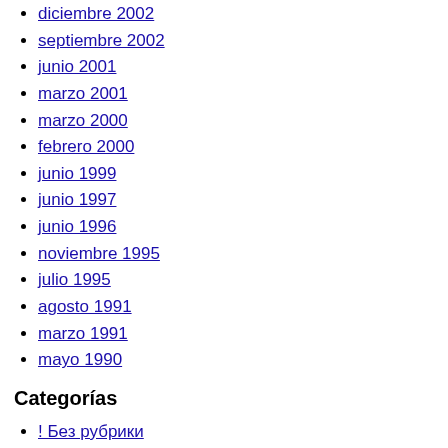diciembre 2002
septiembre 2002
junio 2001
marzo 2001
marzo 2000
febrero 2000
junio 1999
junio 1997
junio 1996
noviembre 1995
julio 1995
agosto 1991
marzo 1991
mayo 1990
Categorías
! Без рубрики
100% Hemp Oil
3
3d slots
5
6
7